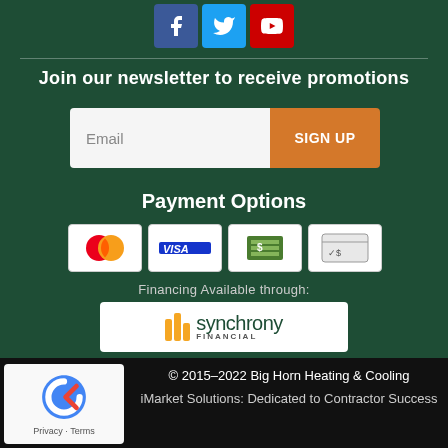[Figure (illustration): Social media icons: Facebook (blue), Twitter (light blue), YouTube (red)]
Join our newsletter to receive promotions
[Figure (screenshot): Email input field with 'Email' placeholder and orange 'SIGN UP' button]
Payment Options
[Figure (illustration): Payment option icons: MasterCard, VISA, cash, check/electronic payment]
Financing Available through:
[Figure (logo): Synchrony Financial logo with orange bar chart icon]
© 2015–2022 Big Horn Heating & Cooling
iMarket Solutions: Dedicated to Contractor Success